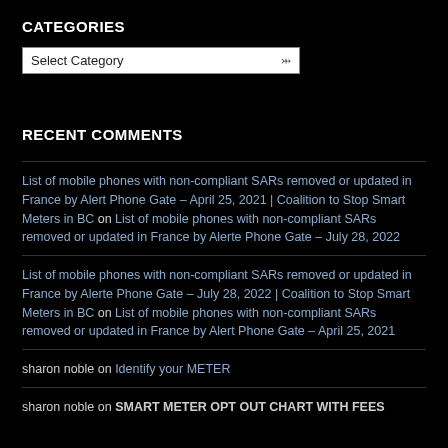CATEGORIES
Select Category
RECENT COMMENTS
List of mobile phones with non-compliant SARs removed or updated in France by Alert Phone Gate – April 25, 2021 | Coalition to Stop Smart Meters in BC on List of mobile phones with non-compliant SARs removed or updated in France by Alerte Phone Gate – July 28, 2022
List of mobile phones with non-compliant SARs removed or updated in France by Alerte Phone Gate – July 28, 2022 | Coalition to Stop Smart Meters in BC on List of mobile phones with non-compliant SARs removed or updated in France by Alert Phone Gate – April 25, 2021
sharon noble on Identify your METER
sharon noble on SMART METER OPT OUT CHART WITH FEES